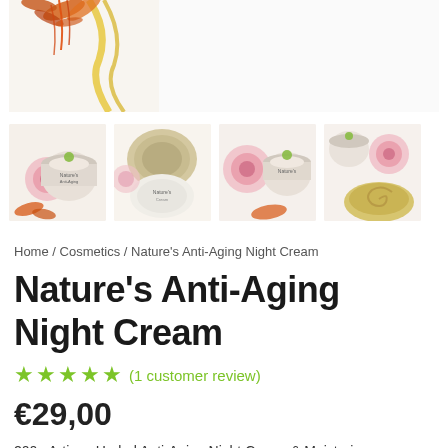[Figure (photo): Top portion of a product photo showing dried flowers/saffron with yellow ribbon on white background]
[Figure (photo): Four product thumbnail images of Nature's Anti-Aging Night Cream jars with pink roses and dried flowers]
Home / Cosmetics / Nature's Anti-Aging Night Cream
Nature's Anti-Aging Night Cream
★★★★★ (1 customer review)
€29,00
200g Artisan Herbal Anti-Aging Night Cream & Moisturizer